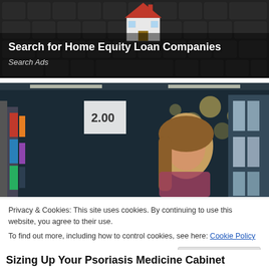[Figure (photo): Dark background image of keyboard keys with a small model house on top, used as advertisement banner background]
Search for Home Equity Loan Companies
Search Ads
[Figure (photo): Photo of a young woman with long hair looking at products on a grocery store shelf, with blurred store lights in background]
Privacy & Cookies: This site uses cookies. By continuing to use this website, you agree to their use.
To find out more, including how to control cookies, see here: Cookie Policy
Close and accept
Sizing Up Your Psoriasis Medicine Cabinet